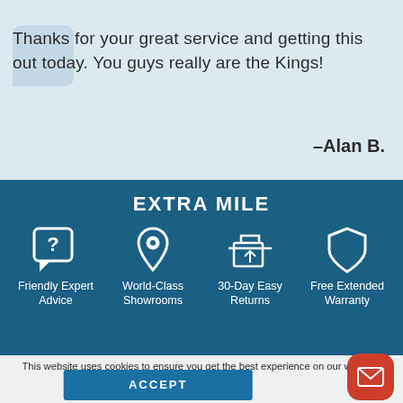Thanks for your great service and getting this out today. You guys really are the Kings!
–Alan B.
EXTRA MILE
Friendly Expert Advice
World-Class Showrooms
30-Day Easy Returns
Free Extended Warranty
This website uses cookies to ensure you get the best experience on our website. Cookie Policy
ACCEPT